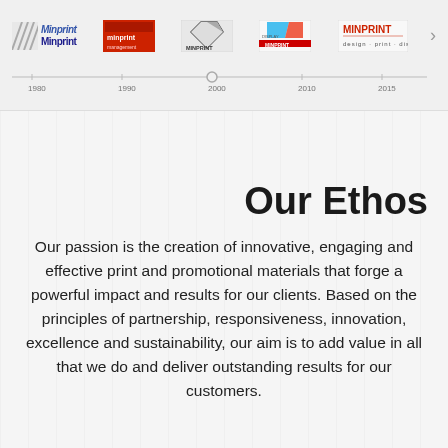[Figure (infographic): A horizontal timeline showing the Minprint company logo evolution from 1980 to 2015, with various logo versions displayed above year markers (1980, 1990, 2000, 2010, 2015) along a horizontal axis line with an arrow pointing right.]
Our Ethos
Our passion is the creation of innovative, engaging and effective print and promotional materials that forge a powerful impact and results for our clients. Based on the principles of partnership, responsiveness, innovation, excellence and sustainability, our aim is to add value in all that we do and deliver outstanding results for our customers.